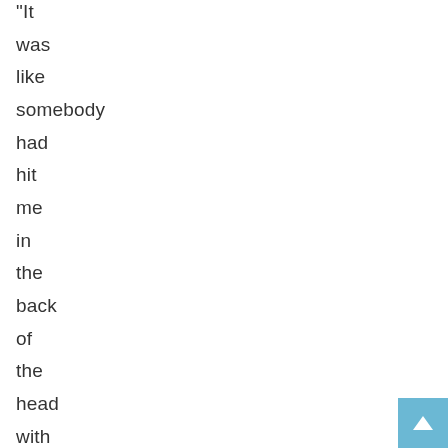“It was like somebody had hit me in the back of the head with a 2×4.”